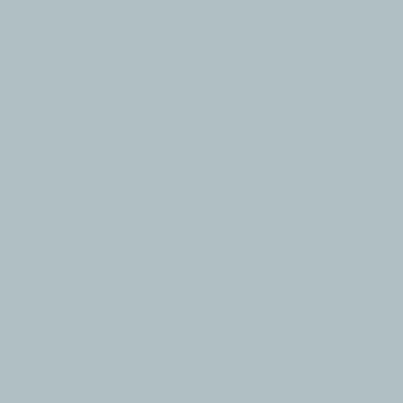and so some of last year's rebound has been erased before the melting season. Some of it, not all of it, and we had reached the end of November. It also seems that the Central Arctic.
This means that we most probably won't reach record lows this melting season (in case anyone was expecting that), unless losses outside of the Central Arctic are pushing things to go low and break records. This, of course, depends on many factors, starting with the amount of melt ponds developing and conditions during July and August.
In the casino it's rien ne va plus, but in th…
PS I'll have some more info in the upcom…
Posted by Neven on May 05, 2015 at 23:23 in Ice Recovery/rebound | Permalink
Reblog (0) | Digg This | Save to de…
Comments
You can follow this conversation by subscribing to the comment feed for this post.